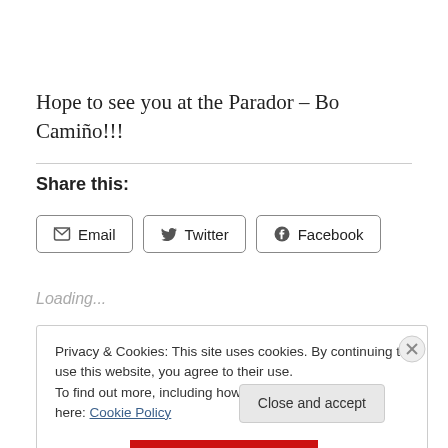Hope to see you at the Parador – Bo Camiño!!!
Share this:
Email  Twitter  Facebook
Loading...
Privacy & Cookies: This site uses cookies. By continuing to use this website, you agree to their use.
To find out more, including how to control cookies, see here: Cookie Policy
Close and accept